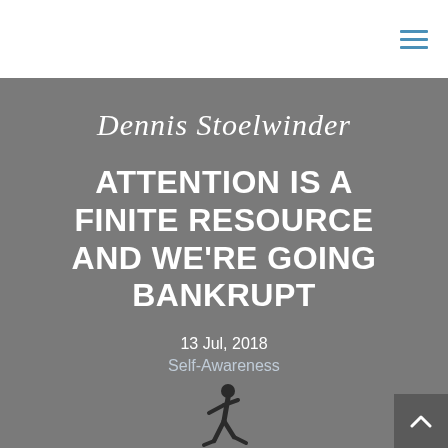Navigation menu icon (hamburger)
Dennis Stoelwinder
ATTENTION IS A FINITE RESOURCE AND WE'RE GOING BANKRUPT
13 Jul, 2018
Self-Awareness
[Figure (illustration): Silhouette of a walking person figure against grey background]
[Figure (other): Double chevron / scroll-down arrow icon in white]